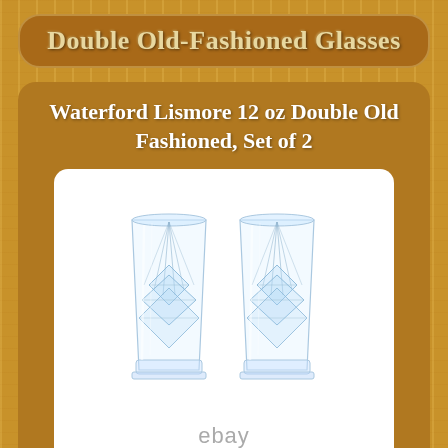Double Old-Fashioned Glasses
Waterford Lismore 12 oz Double Old Fashioned, Set of 2
[Figure (photo): Two Waterford Lismore crystal double old-fashioned glasses side by side on a white background, showing intricate cut crystal pattern with diamond and vertical cuts]
ebay